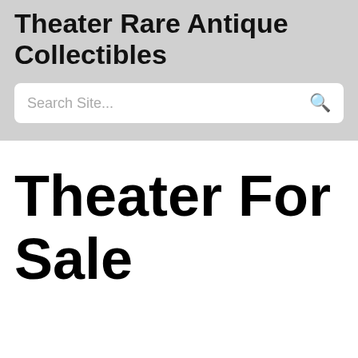Theater Rare Antique Collectibles
Search Site...
Theater For Sale